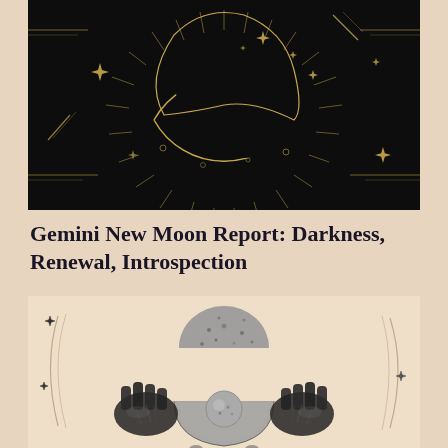[Figure (illustration): Dark mystical illustration on black background featuring a crescent moon with radiating lines and golden stars scattered across the composition, with decorative corner lines]
Gemini New Moon Report: Darkness, Renewal, Introspection
[Figure (illustration): Pencil-style illustration on beige background showing two hands (palms up) flanking a crescent moon bowl holding a sphere, with a larger dome shape above, small stones below, and sweeping crescent arc lines with stars on either side]